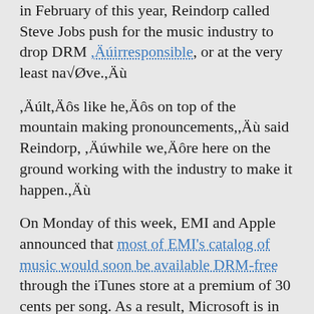In February of this year, Reindorp called Steve Jobs push for the music industry to drop DRM “irresponsible”, or at the very least naïve.”
“It’s like he’s on top of the mountain making pronouncements,” said Reindorp, “while we’re here on the ground working with the industry to make it happen.”
On Monday of this week, EMI and Apple announced that most of EMI’s catalog of music would soon be available DRM-free through the iTunes store at a premium of 30 cents per song. As a result, Microsoft is in the position of trying to sell new DRM formats when the latest thing in digital music is DRM-free downloads.
“We’ve been saying for a while that we are aware that consumers want to have unprotected content,” said